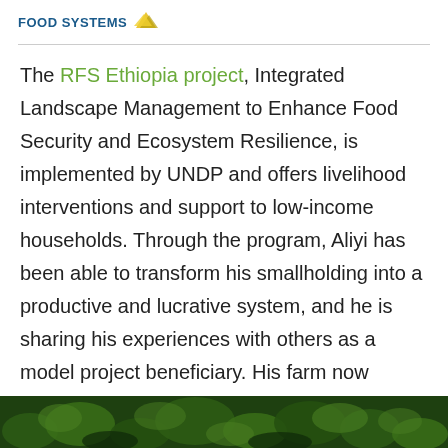FOOD SYSTEMS
The RFS Ethiopia project, Integrated Landscape Management to Enhance Food Security and Ecosystem Resilience, is implemented by UNDP and offers livelihood interventions and support to low-income households. Through the program, Aliyi has been able to transform his smallholding into a productive and lucrative system, and he is sharing his experiences with others as a model project beneficiary. His farm now serves as a centre of learning for twenty neighbouring farmers who come to him to learn practical skills.
[Figure (photo): Photo strip at bottom of page showing green foliage/plants]